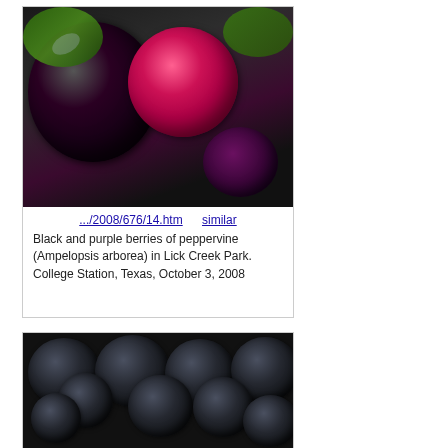[Figure (photo): Close-up photo of black and purple/dark-red berries of peppervine (Ampelopsis arborea) against green leaves background]
.../2008/676/14.htm    similar
Black and purple berries of peppervine (Ampelopsis arborea) in Lick Creek Park. College Station, Texas, October 3, 2008
[Figure (photo): Close-up photo of multiple dark/black round berries clustered together, filling the frame]